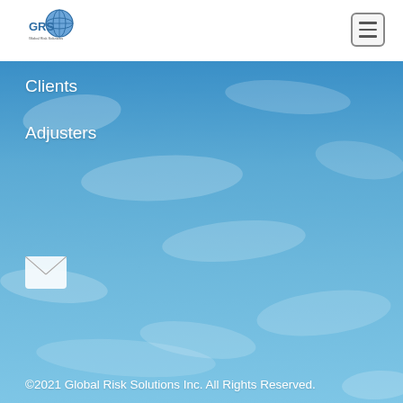[Figure (logo): GRS Global Risk Solutions logo with globe icon]
[Figure (other): Hamburger menu button icon]
[Figure (photo): Ocean water aerial background image, blue and white waves]
Clients
Adjusters
[Figure (illustration): White envelope/mail icon]
©2021 Global Risk Solutions Inc. All Rights Reserved.